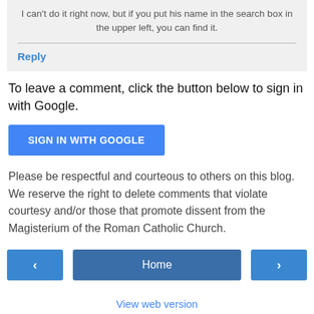I can't do it right now, but if you put his name in the search box in the upper left, you can find it.
Reply
To leave a comment, click the button below to sign in with Google.
SIGN IN WITH GOOGLE
Please be respectful and courteous to others on this blog. We reserve the right to delete comments that violate courtesy and/or those that promote dissent from the Magisterium of the Roman Catholic Church.
‹
Home
›
View web version